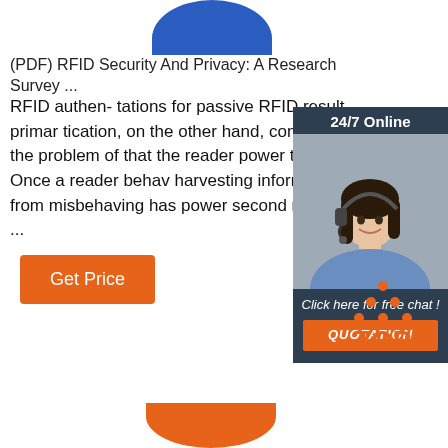[Figure (illustration): Blue rounded blob/tag shape at top center of page]
(PDF) RFID Security And Privacy: A Research Survey ...
RFID authen- tations for passive RFID result primar tication, on the other hand, concerns the problem of that the reader power the tag. Once a reader behav harvesting information from misbehaving has power second reader ...
[Figure (infographic): 24/7 Online chat widget with woman wearing headset, 'Click here for free chat!' text, and orange QUOTATION button]
[Figure (logo): TOP logo with orange dots forming a triangle above the word TOP in orange]
[Figure (illustration): Orange rounded blob/tag shape at bottom center of page]